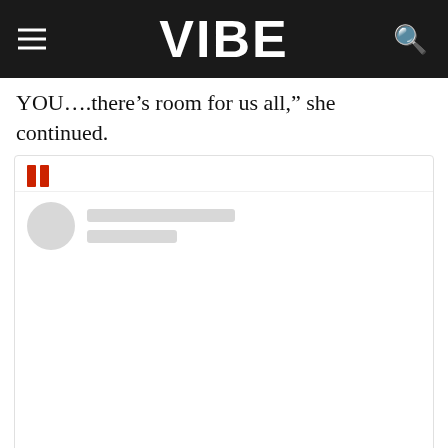VIBE
YOU….there's room for us all,” she continued.
[Figure (screenshot): Embedded Instagram post placeholder showing a loading/blocked embed with a red pause icon, grey avatar circle and grey placeholder lines for username, followed by a blank white content area and a 'View this post on Instagram' link in blue.]
View this post on Instagram